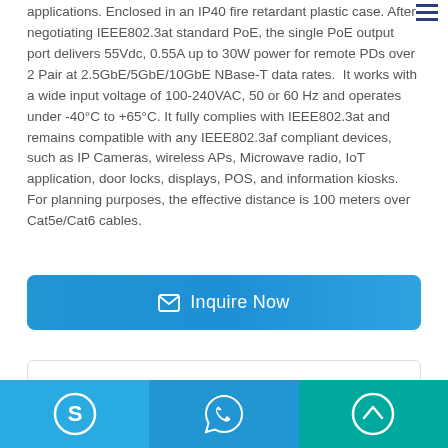applications. Enclosed in an IP40 fire retardant plastic case. After negotiating IEEE802.3at standard PoE, the single PoE output port delivers 55Vdc, 0.55A up to 30W power for remote PDs over 2 Pair at 2.5GbE/5GbE/10GbE NBase-T data rates. It works with a wide input voltage of 100-240VAC, 50 or 60 Hz and operates under -40°C to +65°C. It fully complies with IEEE802.3at and remains compatible with any IEEE802.3af compliant devices, such as IP Cameras, wireless APs, Microwave radio, IoT application, door locks, displays, POS, and information kiosks. For planning purposes, the effective distance is 100 meters over Cat5e/Cat6 cables.
[Figure (other): Inquire Now button with envelope icon]
Specifications
[Figure (other): Footer bar with Skype icon (blue), WhatsApp icon (blue), and scroll-to-top arrow (teal)]